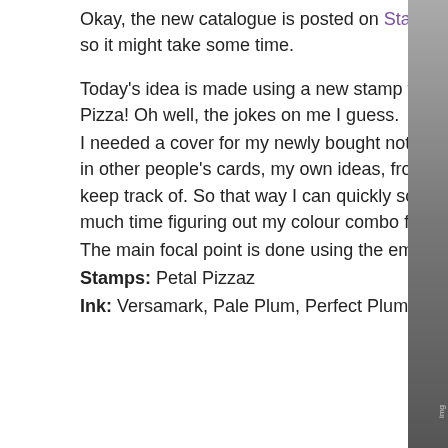Okay, the new catalogue is posted on Stampin' Up!'s website. Fair warning though, you will be downloading a pdf file, so it might take some time.
Today's idea is made using a new stamp from the catalogue, Petal Pizzaz. I thought the first time I read it, it said Petal Pizza! Oh well, the jokes on me I guess.
I needed a cover for my newly bought notepad. I've started keeping this as my ideas for colour combinations that I see in other people's cards, my own ideas, from places around me in everyday life and colour challenges too. So many to keep track of. So that way I can quickly scan through the ones I really want to make, that way hopefully not loose as much time figuring out my colour combo first!
The main focal point is done using the emerging colour tec over at http://www.splitcoaststampers.com/ or right here.
Stamps: Petal Pizzaz
Ink: Versamark, Pale Plum, Perfect Plum, Old Olive, Basic
[Figure (photo): Partial view of a dark sidebar element on the right edge of the page, appearing as a dark vertical strip]